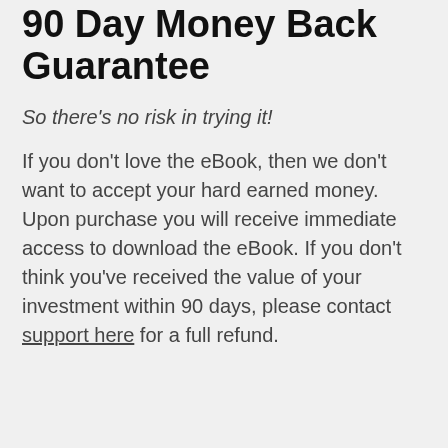90 Day Money Back Guarantee
So there's no risk in trying it!
If you don't love the eBook, then we don't want to accept your hard earned money. Upon purchase you will receive immediate access to download the eBook. If you don't think you've received the value of your investment within 90 days, please contact support here for a full refund.